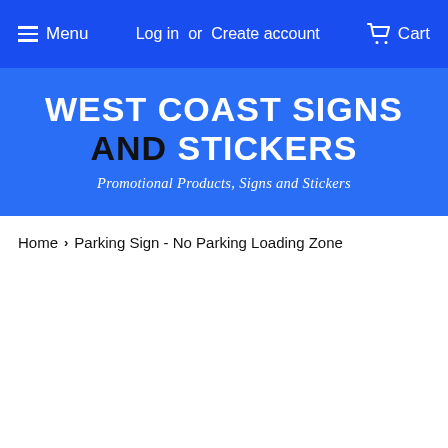Menu  Log in  or  Create account  Cart
[Figure (logo): West Coast Signs and Stickers logo with text: WEST COAST SIGNS AND STICKERS - Promotional Products, Signs and Stickers]
Home > Parking Sign - No Parking Loading Zone